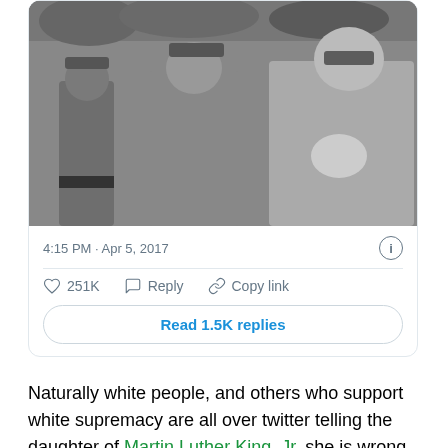[Figure (photo): Black and white photograph showing police officers confronting or arresting a Black man during what appears to be a civil rights era scene.]
4:15 PM · Apr 5, 2017
251K   Reply   Copy link
Read 1.5K replies
Naturally white people, and others who support white supremacy are all over twitter telling the daughter of Martin Luther King, Jr. she is wrong. Black feelings are often disregarded. It does not matter how black people feel about these issues, we are wrong. This is why no